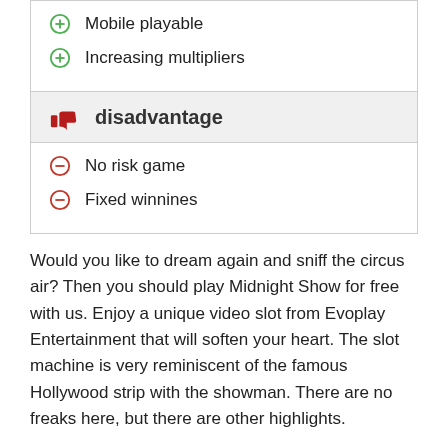Mobile playable
Increasing multipliers
disadvantage
No risk game
Fixed winnines
Would you like to dream again and sniff the circus air? Then you should play Midnight Show for free with us. Enjoy a unique video slot from Evoplay Entertainment that will soften your heart. The slot machine is very reminiscent of the famous Hollywood strip with the showman. There are no freaks here, but there are other highlights.
This title is played on five rollers and three rows. Get a